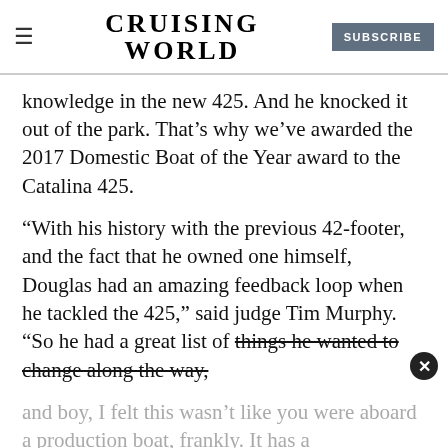CRUISING WORLD | SUBSCRIBE
knowledge in the new 425. And he knocked it out of the park. That’s why we’ve awarded the 2017 Domestic Boat of the Year award to the Catalina 425.
“With his history with the previous 42-footer, and the fact that he owned one himself, Douglas had an amazing feedback loop when he tackled the 425,” said judge Tim Murphy. “So he had a great list of things he wanted to change along the way, and boy, I felt this wasn’t like you were aboard a production boat, frankly. It has a